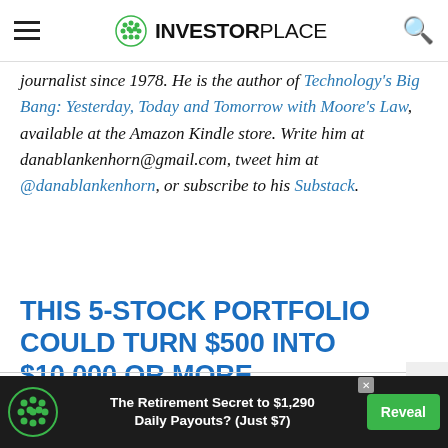InvestorPlace
journalist since 1978. He is the author of Technology's Big Bang: Yesterday, Today and Tomorrow with Moore's Law, available at the Amazon Kindle store. Write him at danablankenhorn@gmail.com, tweet him at @danablankenhorn, or subscribe to his Substack.
THIS 5-STOCK PORTFOLIO COULD TURN $500 INTO $10,000 OR MORE
[Figure (screenshot): Advertisement banner: green dotted circle logo, text 'The Retirement Secret to $1,290 Daily Payouts? (Just $7)', green Reveal button, X close icon in upper right]
The Retirement Secret to $1,290 Daily Payouts? (Just $7) Reveal